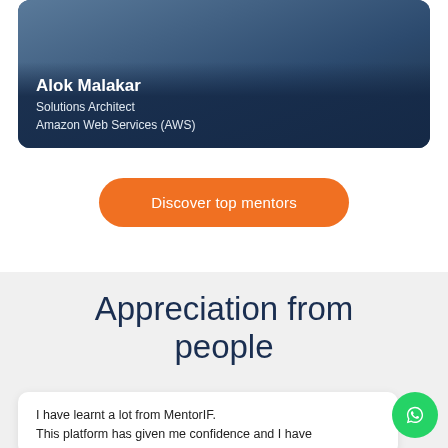[Figure (photo): Profile photo of Alok Malakar with dark blue overlay background]
Alok Malakar
Solutions Architect
Amazon Web Services (AWS)
Discover top mentors
Appreciation from people
I have learnt a lot from MentorIF.
This platform has given me confidence and I have